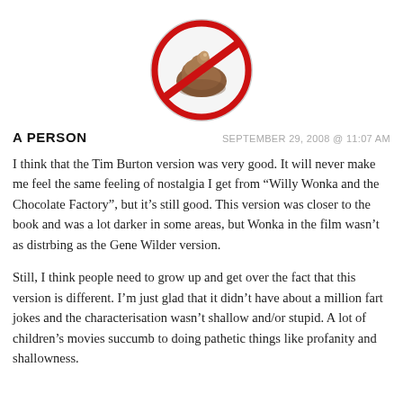[Figure (illustration): A 'no' symbol (red circle with diagonal slash) overlaid on a poop emoji (brown pile of poop cartoon icon)]
A PERSON
SEPTEMBER 29, 2008 @ 11:07 AM
I think that the Tim Burton version was very good. It will never make me feel the same feeling of nostalgia I get from “Willy Wonka and the Chocolate Factory”, but it’s still good. This version was closer to the book and was a lot darker in some areas, but Wonka in the film wasn’t as distrbing as the Gene Wilder version.
Still, I think people need to grow up and get over the fact that this version is different. I’m just glad that it didn’t have about a million fart jokes and the characterisation wasn’t shallow and/or stupid. A lot of children’s movies succumb to doing pathetic things like profanity and shallowness.